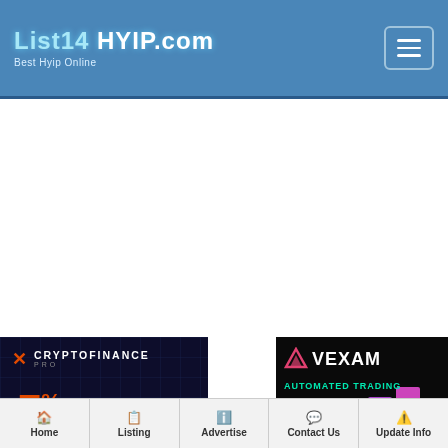List14 HYIP.com Best Hyip Online
[Figure (screenshot): CryptoFinance Pro advertisement banner: dark navy background with grid, orange logo icon, text 'CRYPTOFINANCE PRO', '7% PER' in orange]
[Figure (screenshot): VEXAM advertisement banner: black background, VEXAM logo with triangle, 'AUTOMATED TRADING 4%-5% DAILY', bar chart graphic]
Home | Listing | Advertise | Contact Us | Update Info